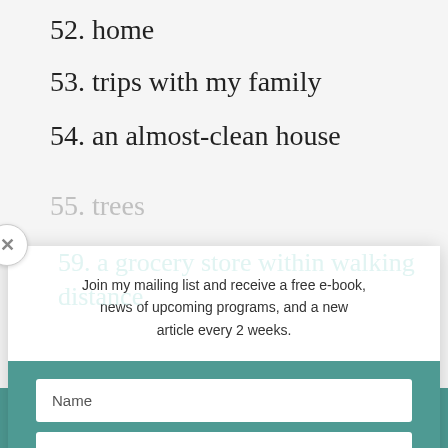52. home
53. trips with my family
54. an almost-clean house
55. trees
56. Thai food
57. a husband who cleans the freezer
58. my African jewellery
59. a grocery store within walking distance
60. that I don't have to live in a cookie-cutter a cookie-cutter neighbourhood
Join my mailing list and receive a free e-book, news of upcoming programs, and a new article every 2 weeks.